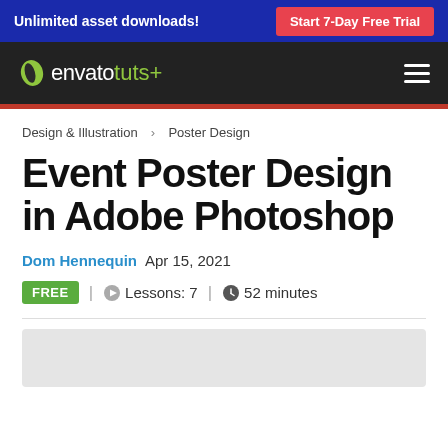Unlimited asset downloads! | Start 7-Day Free Trial
[Figure (logo): Envato Tuts+ logo with navigation hamburger menu on dark background]
Design & Illustration > Poster Design
Event Poster Design in Adobe Photoshop
Dom Hennequin  Apr 15, 2021
FREE | Lessons: 7 | 52 minutes